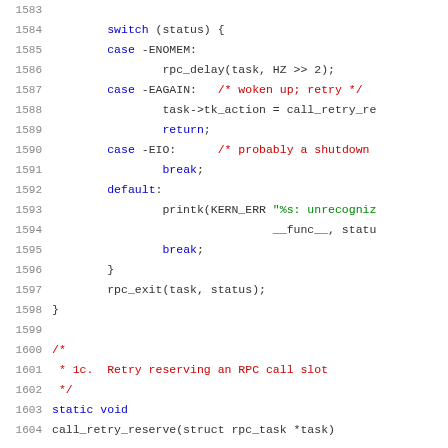[Figure (screenshot): Source code listing showing C code lines 1583-1604, a switch statement handling error cases like -ENOMEM, -EAGAIN, -EIO, default with printk, and closing with rpc_exit, followed by a comment block about retrying an RPC call slot and start of static void function.]